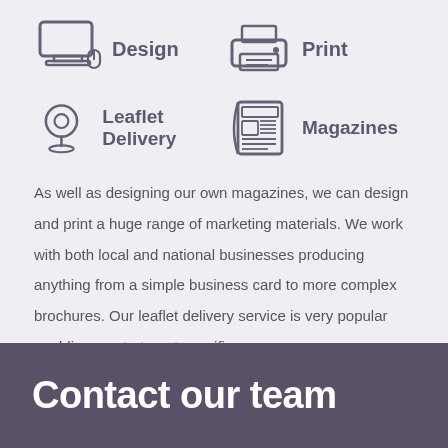[Figure (infographic): Four service icons in a 2x2 grid: Design (computer monitor icon), Print (printer icon), Leaflet Delivery (map pin/location icon), Magazines (newspaper/magazine icon)]
As well as designing our own magazines, we can design and print a huge range of marketing materials. We work with both local and national businesses producing anything from a simple business card to more complex brochures. Our leaflet delivery service is very popular enabling you to target specific areas.
Contact our team